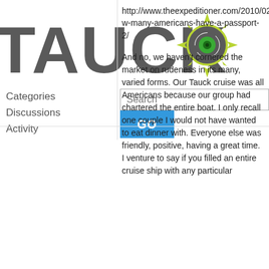[Figure (logo): Tauck logo with compass rose graphic in green and grey]
Categories
Discussions
Activity
http://www.theexpeditioner.com/2010/02/17/how-many-americans-have-a-passport-2/
And no, we haven't cornered the market on rudeness in its many, varied forms. Our Tauck cruise was all Americans because our group had chartered the entire boat. I only recall one couple I would not have wanted to eat dinner with. Everyone else was friendly, positive, having a great time. I venture to say if you filled an entire cruise ship with any particular